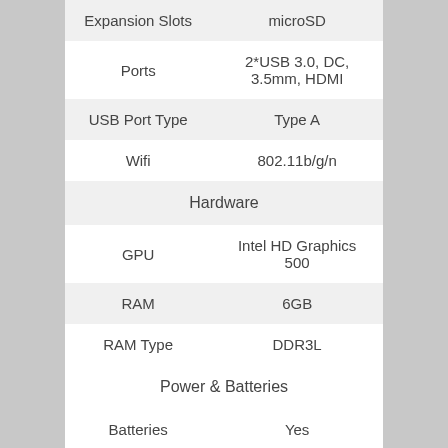| Attribute | Value |
| --- | --- |
| Expansion Slots | microSD |
| Ports | 2*USB 3.0, DC, 3.5mm, HDMI |
| USB Port Type | Type A |
| Wifi | 802.11b/g/n |
| Hardware |  |
| GPU | Intel HD Graphics 500 |
| RAM | 6GB |
| RAM Type | DDR3L |
| Power & Batteries |  |
| Batteries | Yes |